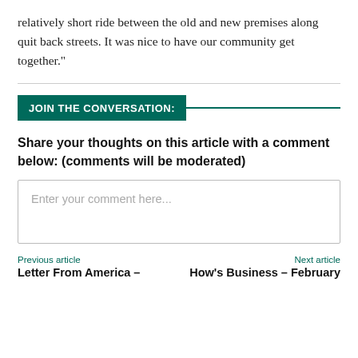relatively short ride between the old and new premises along quit back streets. It was nice to have our community get together.”
JOIN THE CONVERSATION:
Share your thoughts on this article with a comment below: (comments will be moderated)
Enter your comment here...
Previous article
Letter From America –
Next article
How’s Business – February